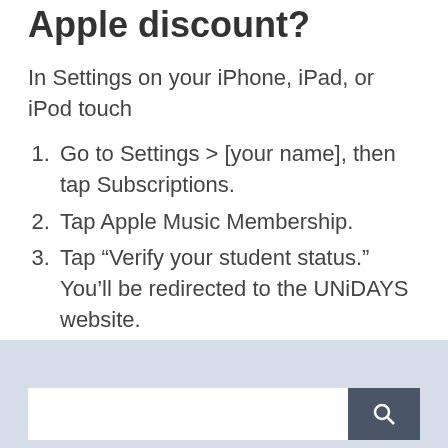Apple discount?
In Settings on your iPhone, iPad, or iPod touch
Go to Settings > [your name], then tap Subscriptions.
Tap Apple Music Membership.
Tap “Verify your student status.” You’ll be redirected to the UNiDAYS website.
Follow the prompts to verify your eligibility.
Sales
Search